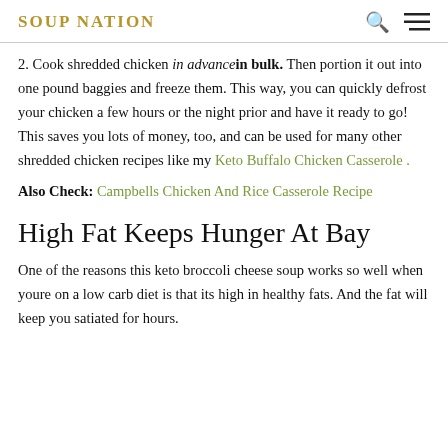SOUP NATION
2. Cook shredded chicken in advance in bulk. Then portion it out into one pound baggies and freeze them. This way, you can quickly defrost your chicken a few hours or the night prior and have it ready to go! This saves you lots of money, too, and can be used for many other shredded chicken recipes like my Keto Buffalo Chicken Casserole .
Also Check: Campbells Chicken And Rice Casserole Recipe
High Fat Keeps Hunger At Bay
One of the reasons this keto broccoli cheese soup works so well when youre on a low carb diet is that its high in healthy fats. And the fat will keep you satiated for hours.